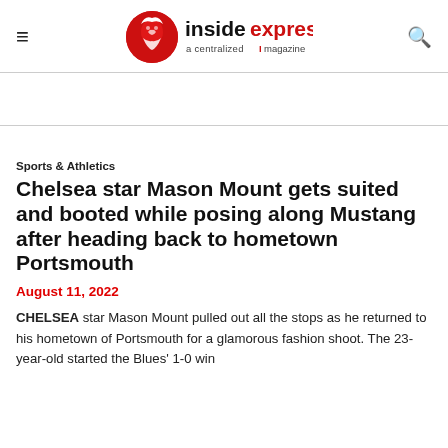insidexpress — a centralized magazine
Sports & Athletics
Chelsea star Mason Mount gets suited and booted while posing along Mustang after heading back to hometown Portsmouth
August 11, 2022
CHELSEA star Mason Mount pulled out all the stops as he returned to his hometown of Portsmouth for a glamorous fashion shoot. The 23-year-old started the Blues' 1-0 win